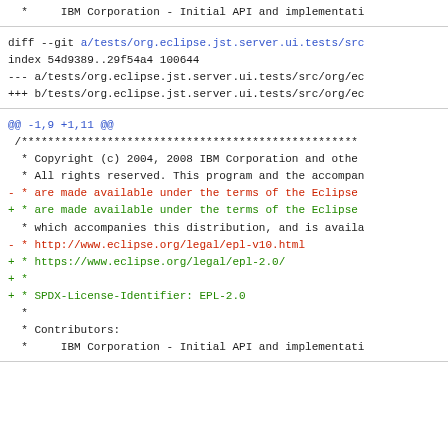* IBM Corporation - Initial API and implementati...
diff --git a/tests/org.eclipse.jst.server.ui.tests/src...
index 54d9389..29f54a4 100644
--- a/tests/org.eclipse.jst.server.ui.tests/src/org/ec...
+++ b/tests/org.eclipse.jst.server.ui.tests/src/org/ec...
@@ -1,9 +1,11 @@
 /***...
 * Copyright (c) 2004, 2008 IBM Corporation and othe...
 * All rights reserved. This program and the accompan...
- * are made available under the terms of the Eclipse...
+ * are made available under the terms of the Eclipse...
 * which accompanies this distribution, and is availa...
- * http://www.eclipse.org/legal/epl-v10.html
+ * https://www.eclipse.org/legal/epl-2.0/
+ *
+ * SPDX-License-Identifier: EPL-2.0
 *
 * Contributors:
 * IBM Corporation - Initial API and implementati...